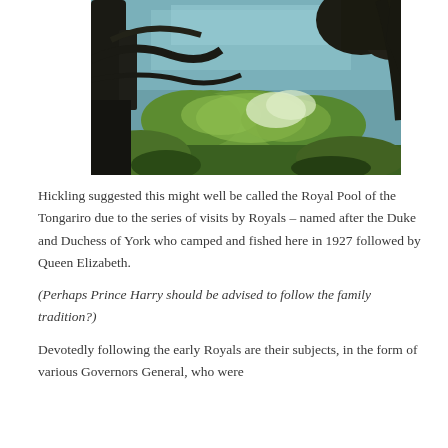[Figure (photo): A scenic outdoor photo taken from above, looking down through dark tree branches and lush green foliage toward a calm teal/blue-green river or pool below.]
Hickling suggested this might well be called the Royal Pool of the Tongariro due to the series of visits by Royals – named after the Duke and Duchess of York who camped and fished here in 1927 followed by Queen Elizabeth.
(Perhaps Prince Harry should be advised to follow the family tradition?)
Devotedly following the early Royals are their subjects, in the form of various Governors General, who were